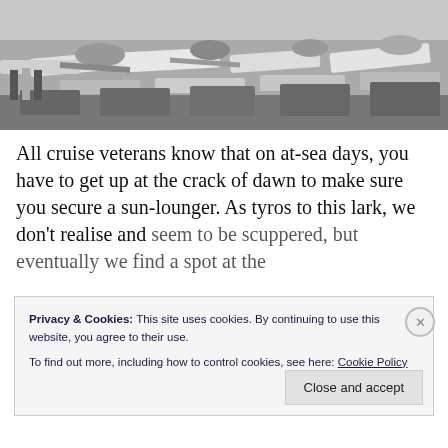[Figure (photo): Black and white photo of people lounging on deck chairs/sun-loungers on a cruise ship deck]
All cruise veterans know that on at-sea days, you have to get up at the crack of dawn to make sure you secure a sun-lounger. As tyros to this lark, we don't realise and seem to be scuppered, but eventually we find a spot at the
Privacy & Cookies: This site uses cookies. By continuing to use this website, you agree to their use.
To find out more, including how to control cookies, see here: Cookie Policy
Close and accept